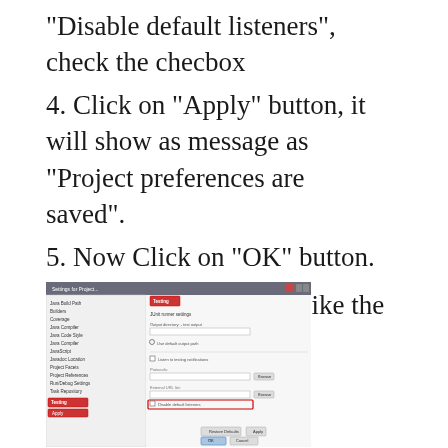"Disable default listeners", check the checbox
4. Click on "Apply" button, it will show as message as "Project preferences are saved".
5. Now Click on "OK" button.
The screen should look like the below:
[Figure (screenshot): Screenshot of a settings/preferences dialog window with a navigation panel on the left and configuration options on the right. A red-highlighted tab labeled 'Testing' is visible at the top. Several form fields and checkboxes are shown, with a 'Disable default listeners' checkbox area highlighted in red. Apply and OK/Cancel buttons are visible at the bottom.]